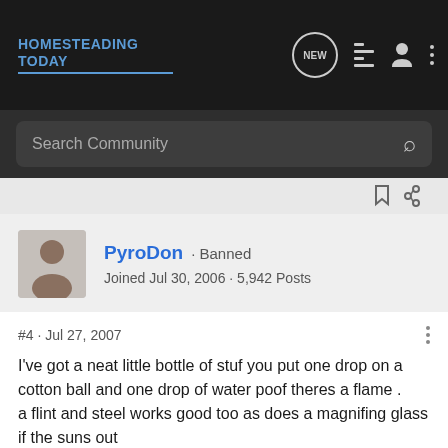HOMESTEADING TODAY
Search Community
[Figure (screenshot): Bookmark and share icons in a light gray strip]
PyroDon · Banned
Joined Jul 30, 2006 · 5,942 Posts
#4 · Jul 27, 2007
I've got a neat little bottle of stuf you put one drop on a cotton ball and one drop of water poof theres a flame .
a flint and steel works good too as does a magnifing glass if the suns out
:nana: